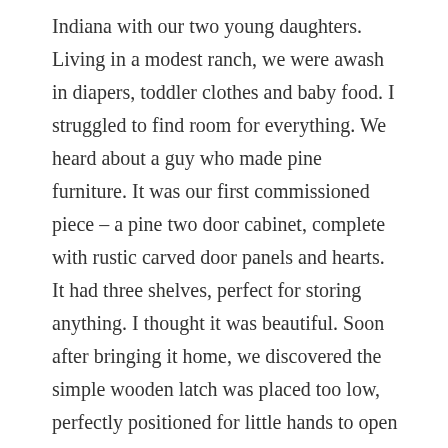Indiana with our two young daughters. Living in a modest ranch, we were awash in diapers, toddler clothes and baby food. I struggled to find room for everything. We heard about a guy who made pine furniture. It was our first commissioned piece – a pine two door cabinet, complete with rustic carved door panels and hearts. It had three shelves, perfect for storing anything. I thought it was beautiful. Soon after bringing it home, we discovered the simple wooden latch was placed too low, perfectly positioned for little hands to open and help themselves. We added another latch too high for them to reach, even on tiptoes.  At some point, I decided the plain pine finish was too plain and stained it barn red, adding a leaf design and painting the hearts green.
Although many possessions and pieces of furniture stayed with us through the years, the cabinet was